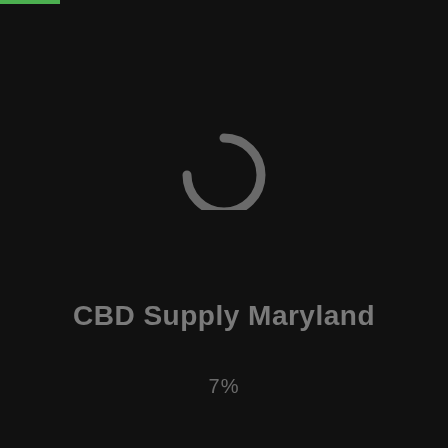[Figure (other): Loading spinner icon — a gray horseshoe/arc shape (open circle) indicating a loading state]
CBD Supply Maryland
7%